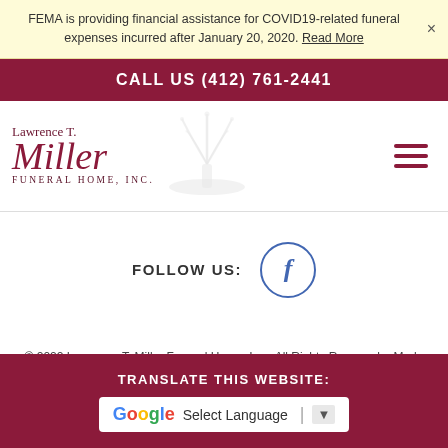FEMA is providing financial assistance for COVID19-related funeral expenses incurred after January 20, 2020. Read More
CALL US (412) 761-2441
[Figure (logo): Lawrence T. Miller Funeral Home, Inc. logo with script text and fountain graphic]
FOLLOW US:
[Figure (other): Facebook social media circle icon with letter f]
© 2022 Lawrence T. Miller Funeral Home, Inc.. All Rights Reserved – Made with love by funeralOne.
TRANSLATE THIS WEBSITE:
[Figure (other): Google Translate widget with G logo and Select Language dropdown]